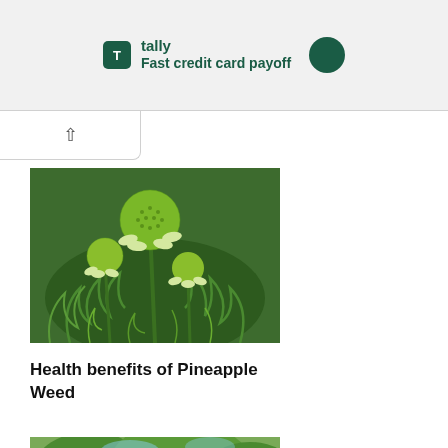[Figure (other): Tally app advertisement banner with logo and text 'Fast credit card payoff']
[Figure (photo): Close-up photo of Pineapple Weed plant showing round green flower heads and feathery green foliage]
Health benefits of Pineapple Weed
[Figure (photo): Partial photo of a large nut or seed with tree foliage in background]